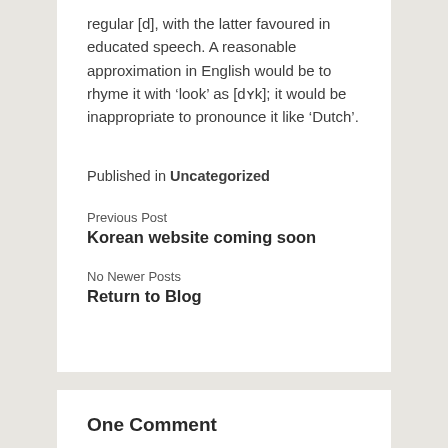regular [d], with the latter favoured in educated speech. A reasonable approximation in English would be to rhyme it with ‘look’ as [dʏk]; it would be inappropriate to pronounce it like ‘Dutch’.
Published in Uncategorized
Previous Post
Korean website coming soon
No Newer Posts
Return to Blog
One Comment